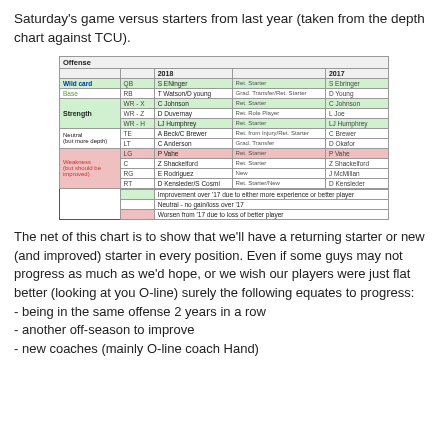Saturday's game versus starters from last year (taken from the depth chart against TCU).
|  | Pos | 2018 |  | 2017 |
| --- | --- | --- | --- | --- |
| Wild card | QB | S ENinger | Ret. Starter | S Ebringer |
| Base | RB | T Watson/D young | Grad. Transfer/Ret. Starter | D Young |
| Strength | WR - X | C Johnson | Ret. Starter | C Johnson |
|  | WR - Z | D Duvernay | Ret. Role Player | L Joe |
|  | WR - H | LJ Humphrey | Ret. Starter | LJ Humphrey |
| Neutral (but more depth) | TE | A Beck/C Brewer | Ret. from Injury/Ret. Starter | C Brewer |
|  | LT | C Anderson | Grad. Transfer | D Okafor |
| Weakness (but should be improved) | LG | P Vahe | Ret. Starter | P Vahe |
|  | C | Z Shackelford | Ret. Starter | Z Shackelford |
|  | RG | E Rodriguez | New | J McMillan |
|  | RT | D Kensleder/S Cosmi | Ret. Starter/New | D Kensleder |
The net of this chart is to show that we'll have a returning starter or new (and improved) starter in every position. Even if some guys may not progress as much as we'd hope, or we wish our players were just flat better (looking at you O-line) surely the following equates to progress:
- being in the same offense 2 years in a row
- another off-season to improve
- new coaches (mainly O-line coach Hand)